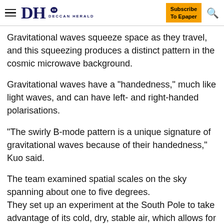DH DECCAN HERALD | Subscribe To Epaper
Gravitational waves squeeze space as they travel, and this squeezing produces a distinct pattern in the cosmic microwave background.
Gravitational waves have a "handedness," much like light waves, and can have left- and right-handed polarisations.
"The swirly B-mode pattern is a unique signature of gravitational waves because of their handedness," Kuo said.
The team examined spatial scales on the sky spanning about one to five degrees.
They set up an experiment at the South Pole to take advantage of its cold, dry, stable air, which allows for crisp detection of faint cosmic light.